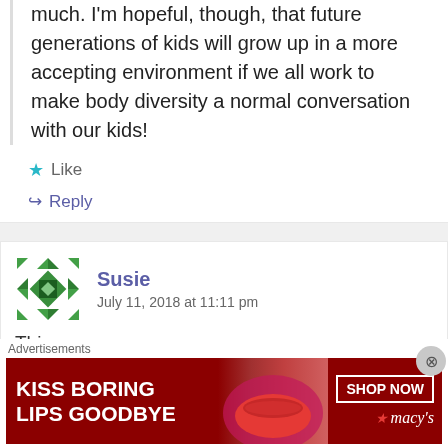much. I'm hopeful, though, that future generations of kids will grow up in a more accepting environment if we all work to make body diversity a normal conversation with our kids!
Like
Reply
Susie
July 11, 2018 at 11:11 pm
This ...
Advertisements
[Figure (other): Macy's advertisement banner: KISS BORING LIPS GOODBYE with SHOP NOW button and Macy's star logo]